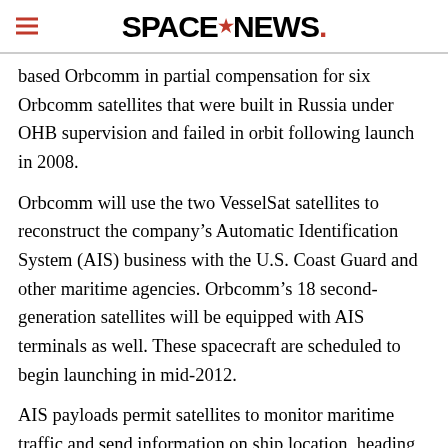SPACENEWS
based Orbcomm in partial compensation for six Orbcomm satellites that were built in Russia under OHB supervision and failed in orbit following launch in 2008.
Orbcomm will use the two VesselSat satellites to reconstruct the company’s Automatic Identification System (AIS) business with the U.S. Coast Guard and other maritime agencies. Orbcomm’s 18 second-generation satellites will be equipped with AIS terminals as well. These spacecraft are scheduled to begin launching in mid-2012.
AIS payloads permit satellites to monitor maritime traffic and send information on ship location, heading and cargo to coastal authorities from positions that are beyond the reach of ground-based coastal radars.